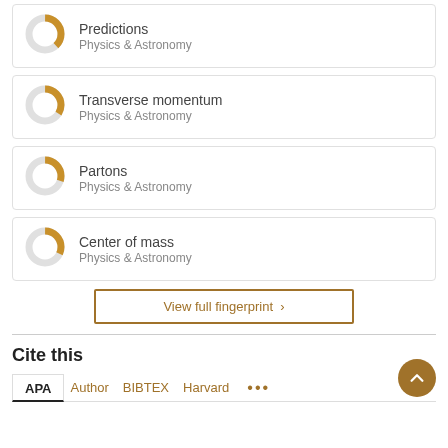[Figure (donut-chart): Partial donut chart for Predictions, Physics & Astronomy keyword]
[Figure (donut-chart): Partial donut chart for Transverse momentum, Physics & Astronomy keyword]
[Figure (donut-chart): Partial donut chart for Partons, Physics & Astronomy keyword]
[Figure (donut-chart): Partial donut chart for Center of mass, Physics & Astronomy keyword]
View full fingerprint >
Cite this
APA  Author  BIBTEX  Harvard  ...